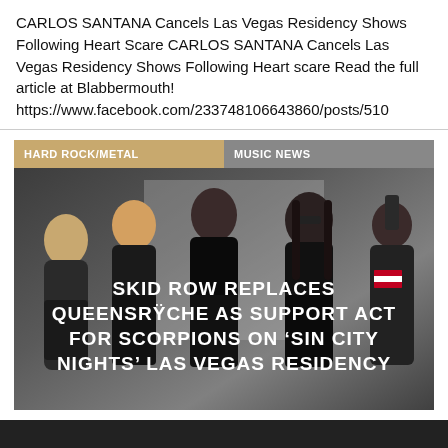CARLOS SANTANA Cancels Las Vegas Residency Shows Following Heart Scare CARLOS SANTANA Cancels Las Vegas Residency Shows Following Heart scare Read the full article at Blabbermouth! https://www.facebook.com/233748106643860/posts/510
[Figure (photo): Band photo of Skid Row members in dark rock attire with overlaid text and category tags reading HARD ROCK/METAL and MUSIC NEWS]
SKID ROW REPLACES QUEENSRŸCHE AS SUPPORT ACT FOR SCORPIONS ON 'SIN CITY NIGHTS' LAS VEGAS RESIDENCY